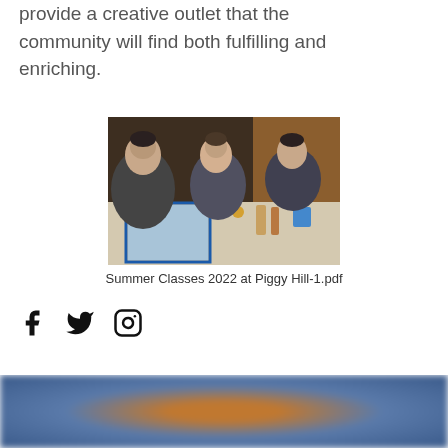provide a creative outlet that the community will find both fulfilling and enriching.
[Figure (photo): Students sitting around a table doing art/painting activities during Summer Classes 2022 at Piggy Hill]
Summer Classes 2022 at Piggy Hill-1.pdf
[Figure (infographic): Social media icons: Facebook, Twitter, Instagram]
[Figure (photo): Partial bottom image, blurred, showing blue and orange colors]